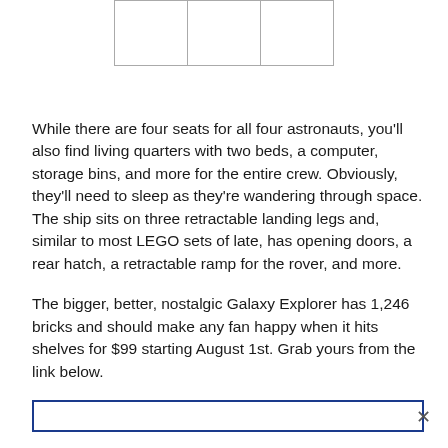|  |  |  |
While there are four seats for all four astronauts, you'll also find living quarters with two beds, a computer, storage bins, and more for the entire crew. Obviously, they'll need to sleep as they're wandering through space. The ship sits on three retractable landing legs and, similar to most LEGO sets of late, has opening doors, a rear hatch, a retractable ramp for the rover, and more.
The bigger, better, nostalgic Galaxy Explorer has 1,246 bricks and should make any fan happy when it hits shelves for $99 starting August 1st. Grab yours from the link below.